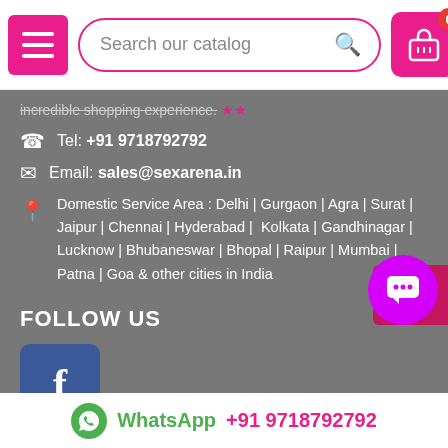Search our catalog
incredible shopping experience. ☆☆
Tel: +91 9718792792
Email: sales@sexarena.in
Domestic Service Area : Delhi | Gurgaon | Agra | Surat | Jaipur | Chennai | Hyderabad |  Kolkata | Gandhinagar | Lucknow | Bhubaneswar | Bhopal | Raipur | Mumbai | Patna | Goa & other cities in India
FOLLOW US
[Figure (logo): Facebook logo icon - blue square with white f]
NEWSLETTER
WhatsApp  +91 9718792792